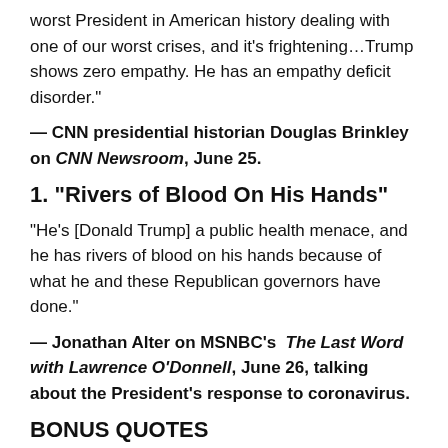worst President in American history dealing with one of our worst crises, and it’s frightening…Trump shows zero empathy. He has an empathy deficit disorder.”
— CNN presidential historian Douglas Brinkley on CNN Newsroom, June 25.
1. “Rivers of Blood On His Hands”
“He’s [Donald Trump] a public health menace, and he has rivers of blood on his hands because of what he and these Republican governors have done.”
— Jonathan Alter on MSNBC’s  The Last Word with Lawrence O’Donnell, June 26, talking about the President’s response to coronavirus.
BONUS QUOTES